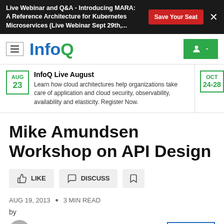Live Webinar and Q&A - Introducing MARA: A Reference Architecture for Kubernetes Microservices (Live Webinar Sept 29th,... Save Your Seat ✕
[Figure (logo): InfoQ logo with hamburger menu and user account button]
InfoQ Live August — Learn how cloud architectures help organizations take care of application and cloud security, observability, availability and elasticity. Register Now. AUG 23
QCon Sa... — Understand... you should... on Oct 24-... OCT 24-28
Mike Amundsen Workshop on API Design
LIKE   DISCUSS   [bookmark]
AUG 19, 2013 • 3 MIN READ
by
Saul Caganoff   FOLLOW